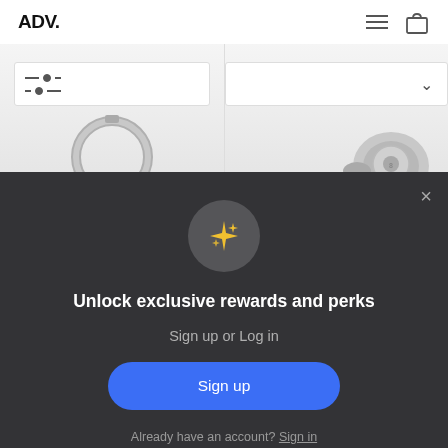ADV.
[Figure (screenshot): Product listing page showing two earphone/headphone products with filter and sort controls. Left side shows a circular cable/earphone with a filter icon bar. Right side shows an in-ear monitor with a sort dropdown chevron.]
Unlock exclusive rewards and perks
Sign up or Log in
Sign up
Already have an account? Sign in